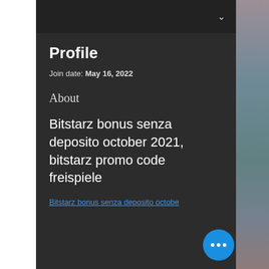Profile
Join date: May 16, 2022
About
Bitstarz bonus senza deposito october 2021, bitstarz promo code freispiele
Bitstarz bonus senza deposito octobe...